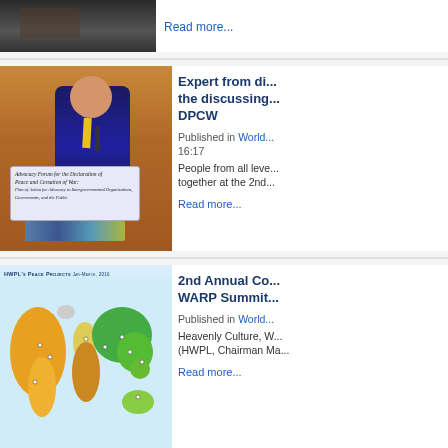[Figure (photo): Top strip: partial photo of people at an event (cropped, top of page)]
Read more...
[Figure (photo): Man in blue suit speaking at podium with microphone at Advocacy Forum for the Declaration of Peace and Cessation of War]
Expert from di... the discussing... DPCW
Published in World...
16:17
People from all leve... together at the 2nd...
Read more...
[Figure (map): HWPL's Peace Projects world map showing colored regions and project markers]
2nd Annual Co... WARP Summit...
Published in World...
Heavenly Culture, W... (HWPL, Chairman Ma...
Read more...